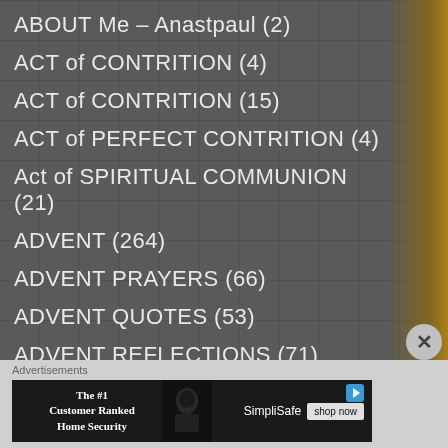ABOUT Me – Anastpaul (2)
ACT of CONTRITION (4)
ACT of CONTRITION (15)
ACT of PERFECT CONTRITION (4)
Act of SPIRITUAL COMMUNION (21)
ADVENT (264)
ADVENT PRAYERS (66)
ADVENT QUOTES (53)
ADVENT REFLECTIONS (71)
Against ICONOCLASM (7)
APRIL – MONTH of the RESURRECTION and the
Advertisements
[Figure (screenshot): SimpliSafe advertisement banner: The #1 Customer Ranked Home Security, with shop now button]